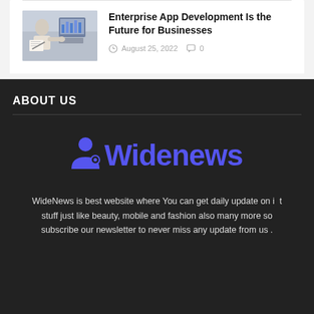[Figure (photo): Thumbnail image of people working at a computer with charts on screen]
Enterprise App Development Is the Future for Businesses
August 25, 2022  0
ABOUT US
[Figure (logo): WideNews logo in blue with person icon]
WideNews is best website where You can get daily update on i t stuff just like beauty, mobile and fashion also many more so subscribe our newsletter to never miss any update from us .